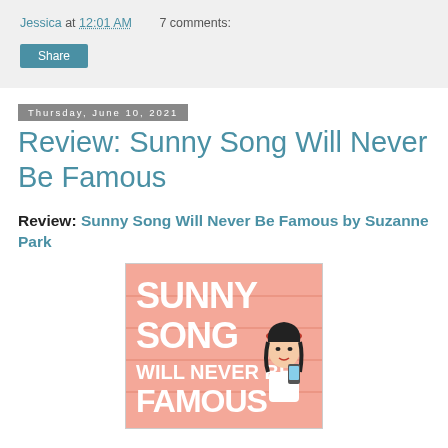Jessica at 12:01 AM    7 comments:
Share
Thursday, June 10, 2021
Review: Sunny Song Will Never Be Famous
Review: Sunny Song Will Never Be Famous by Suzanne Park
[Figure (illustration): Book cover of 'Sunny Song Will Never Be Famous' by Suzanne Park. Pink/salmon wooden background with bold white text reading SUNNY SONG WILL NEVER BE FAMOUS, with an illustrated young Asian woman holding a phone.]